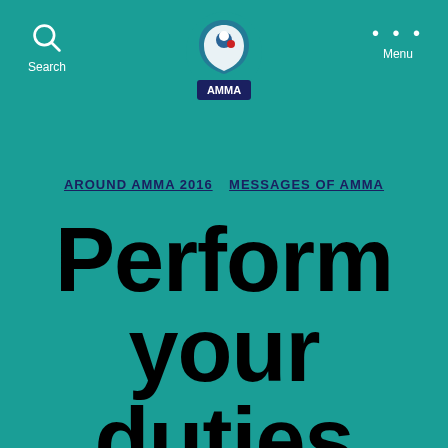Search | AMMA Logo | Menu
AROUND AMMA 2016   MESSAGES OF AMMA
Perform your duties wholeheartedly with an